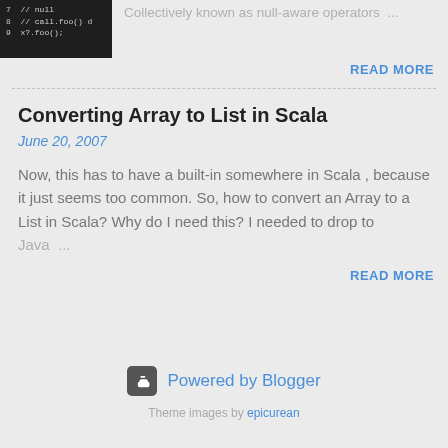[Figure (screenshot): Code snippet showing lines 7-9 of Scala code in dark terminal style: '// null.foo() ...' and 'x?.foo();']
Collectively known as null-aware operators ...
READ MORE
Converting Array to List in Scala
June 20, 2007
Now, this has to have a built-in somewhere in Scala , because it just seems too common. So, how to convert an Array to a List in Scala? Why do I need this? I needed to drop to Java ...
READ MORE
[Figure (logo): Powered by Blogger logo with Blogger B icon]
Theme images by epicurean